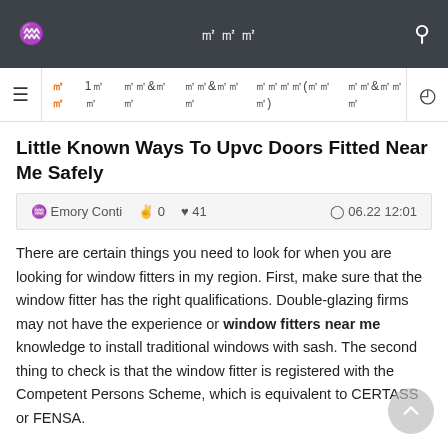㎡㎡㎡
㎡㎡ 1㎡㎡ ㎡㎡&㎡㎡ ㎡㎡&㎡㎡㎡ ㎡㎡㎡㎡(㎡㎡㎡) ㎡㎡&㎡㎡㎡
Little Known Ways To Upvc Doors Fitted Near Me Safely
Emory Conti   0   41   06.22 12:01
There are certain things you need to look for when you are looking for window fitters in my region. First, make sure that the window fitter has the right qualifications. Double-glazing firms may not have the experience or window fitters near me knowledge to install traditional windows with sash. The second thing to check is that the window fitter is registered with the Competent Persons Scheme, which is equivalent to CERTASS or FENSA.
Master Window Repair
Master Windows Repair is the top local window repair business. The